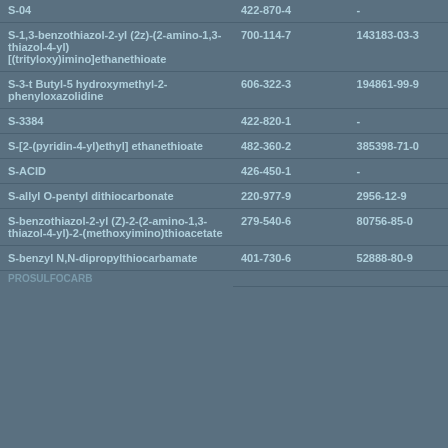| S-04 | 422-870-4 | - |
| S-1,3-benzothiazol-2-yl (2z)-(2-amino-1,3-thiazol-4-yl)[(trityloxy)imino]ethanethioate | 700-114-7 | 143183-03-3 |
| S-3-t Butyl-5 hydroxymethyl-2-phenyloxazolidine | 606-322-3 | 194861-99-9 |
| S-3384 | 422-820-1 | - |
| S-[2-(pyridin-4-yl)ethyl] ethanethioate | 482-360-2 | 385398-71-0 |
| S-ACID | 426-450-1 | - |
| S-allyl O-pentyl dithiocarbonate | 220-977-9 | 2956-12-9 |
| S-benzothiazol-2-yl (Z)-2-(2-amino-1,3-thiazol-4-yl)-2-(methoxyimino)thioacetate | 279-540-6 | 80756-85-0 |
| S-benzyl N,N-dipropylthiocarbamate | 401-730-6 | 52888-80-9 |
| PROSULFOCARB |  |  |